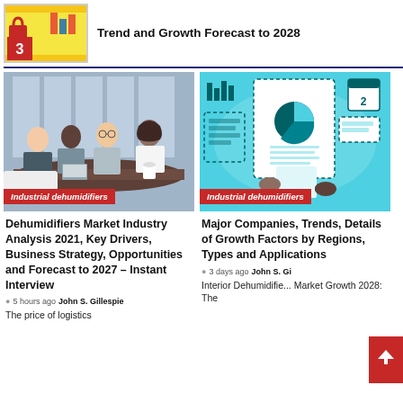Trend and Growth Forecast to 2028
[Figure (illustration): Thumbnail image with red badge number 3 and icons related to market analysis]
[Figure (photo): Business meeting scene with people around a conference table with laptops]
Industrial dehumidifiers
[Figure (illustration): Market research report illustration with pie chart, world map, hands holding documents, and analytics icons on teal background]
Industrial dehumidifiers
Dehumidifiers Market Industry Analysis 2021, Key Drivers, Business Strategy, Opportunities and Forecast to 2027 – Instant Interview
5 hours ago  John S. Gillespie
The price of logistics
Major Companies, Trends, Details of Growth Factors by Regions, Types and Applications
3 days ago  John S. Gi...
Interior Dehumidifie... Market Growth 2028: The